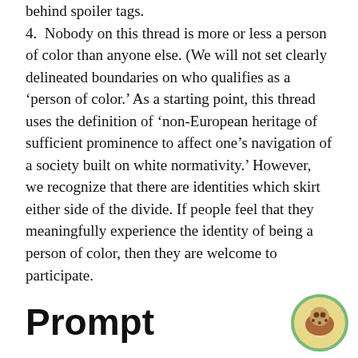behind spoiler tags.
4.  Nobody on this thread is more or less a person of color than anyone else. (We will not set clearly delineated boundaries on who qualifies as a ‘person of color.’ As a starting point, this thread uses the definition of ‘non-European heritage of sufficient prominence to affect one’s navigation of a society built on white normativity.’ However, we recognize that there are identities which skirt either side of the divide. If people feel that they meaningfully experience the identity of being a person of color, then they are welcome to participate.
Prompt
What is something you love about yourself? It can be related to your background, or just be something